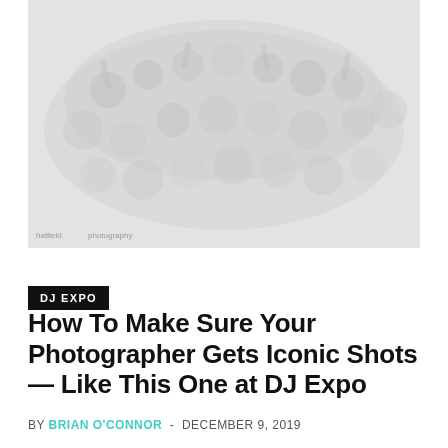[Figure (photo): Aerial/overhead black and white photo of a large crowd of people at DJ Expo, many raising their hands and looking up at the camera. Slightly faded/light tones.]
DJ EXPO
How To Make Sure Your Photographer Gets Iconic Shots — Like This One at DJ Expo
BY BRIAN O'CONNOR - DECEMBER 9, 2019